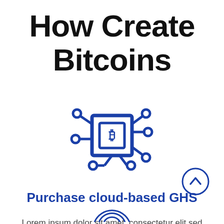How Create Bitcoins
[Figure (illustration): Blue circuit board icon with a Bitcoin 'B' symbol in the center, connected nodes at the corners and edges, representing cloud-based cryptocurrency mining hardware]
Purchase cloud-based GHS
Lorem ipsum dolor sit amet, consectetur elit sed eiusmod tempor incididunt ut labore
[Figure (illustration): Blue circle with an upward-pointing chevron/arrow inside, serving as a scroll-up button]
[Figure (illustration): Partial blue circular icon visible at the bottom center of the page]